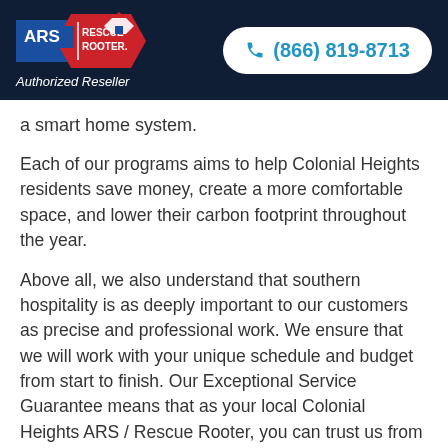[Figure (logo): ARS Rescue Rooter logo with Authorized Reseller text and phone number (866) 819-8713 in header]
a smart home system.
Each of our programs aims to help Colonial Heights residents save money, create a more comfortable space, and lower their carbon footprint throughout the year.
Above all, we also understand that southern hospitality is as deeply important to our customers as precise and professional work. We ensure that we will work with your unique schedule and budget from start to finish. Our Exceptional Service Guarantee means that as your local Colonial Heights ARS / Rescue Rooter, you can trust us from the smallest repairs to the biggest renovations.
Colonial Heights Heating and